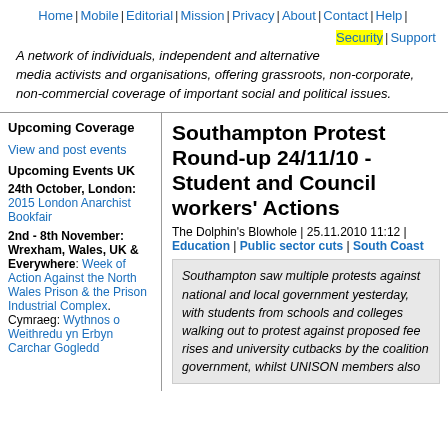Home | Mobile | Editorial | Mission | Privacy | About | Contact | Help | Security | Support
A network of individuals, independent and alternative media activists and organisations, offering grassroots, non-corporate, non-commercial coverage of important social and political issues.
Upcoming Coverage
View and post events
Upcoming Events UK
24th October, London: 2015 London Anarchist Bookfair
2nd - 8th November: Wrexham, Wales, UK & Everywhere: Week of Action Against the North Wales Prison & the Prison Industrial Complex. Cymraeg: Wythnos o Weithredu yn Erbyn Carchar Gogledd
Southampton Protest Round-up 24/11/10 - Student and Council workers' Actions
The Dolphin's Blowhole | 25.11.2010 11:12 | Education | Public sector cuts | South Coast
Southampton saw multiple protests against national and local government yesterday, with students from schools and colleges walking out to protest against proposed fee rises and university cutbacks by the coalition government, whilst UNISON members also...